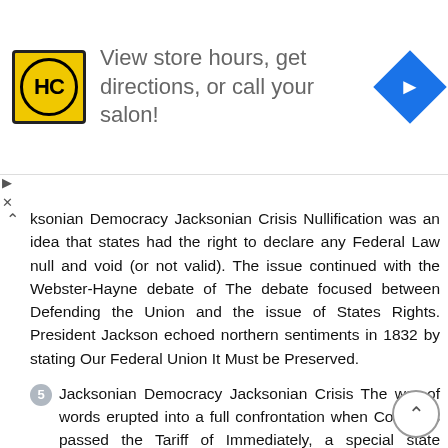[Figure (other): Advertisement banner: HC logo (yellow circle with HC text), text 'View store hours, get directions, or call your salon!', blue diamond arrow icon]
ksonian Democracy Jacksonian Crisis Nullification was an idea that states had the right to declare any Federal Law null and void (or not valid). The issue continued with the Webster-Hayne debate of The debate focused between Defending the Union and the issue of States Rights. President Jackson echoed northern sentiments in 1832 by stating Our Federal Union It Must be Preserved.
5 Jacksonian Democracy Jacksonian Crisis The war of words erupted into a full confrontation when Congress passed the Tariff of Immediately, a special state convention in South Carolina adopted an Ordinance of Nullification declaring the tariffs unconstitutional. President Jackson considered the nullification to be an act of treason by South Carolina. In 1833, Congress passed the Force Bill authorizing the president to use the military to enforce the law.